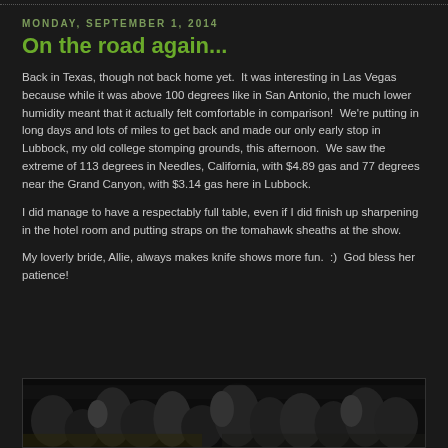MONDAY, SEPTEMBER 1, 2014
On the road again...
Back in Texas, though not back home yet.  It was interesting in Las Vegas because while it was above 100 degrees like in San Antonio, the much lower humidity meant that it actually felt comfortable in comparison!  We're putting in long days and lots of miles to get back and made our only early stop in Lubbock, my old college stomping grounds, this afternoon.  We saw the extreme of 113 degrees in Needles, California, with $4.89 gas and 77 degrees near the Grand Canyon, with $3.14 gas here in Lubbock.
I did manage to have a respectably full table, even if I did finish up sharpening in the hotel room and putting straps on the tomahawk sheaths at the show.
My loverly bride, Allie, always makes knife shows more fun.  :)  God bless her patience!
[Figure (photo): Crowd scene at a knife show, people gathered around tables with items on display, dark indoor setting]